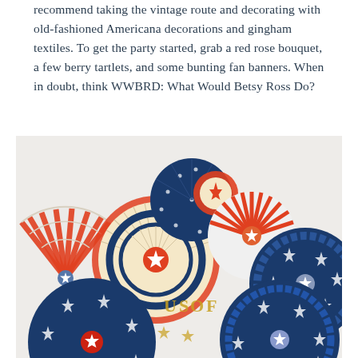recommend taking the vintage route and decorating with old-fashioned Americana decorations and gingham textiles. To get the party started, grab a red rose bouquet, a few berry tartlets, and some bunting fan banners. When in doubt, think WWBRD: What Would Betsy Ross Do?
[Figure (photo): Patriotic red, white, and blue paper fan decorations arranged in a wreath-like cluster against a light background. Fans feature star patterns, stripes, and polka dots. Partial text visible reading 'US OF' in gold glitter letters.]